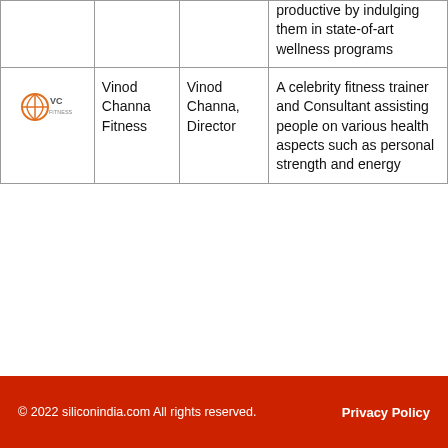|  | Company | Person | Description |
| --- | --- | --- | --- |
|  |  |  | productive by indulging them in state-of-art wellness programs |
| [VC Fitness logo] | Vinod Channa Fitness | Vinod Channa, Director | A celebrity fitness trainer and Consultant assisting people on various health aspects such as personal strength and energy |
© 2022 siliconindia.com All rights reserved.   Privacy Policy